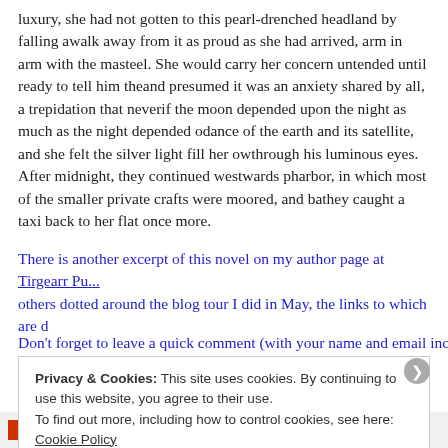luxury, she had not gotten to this pearl-drenched headland by falling a... walk away from it as proud as she had arrived, arm in arm with the ma... steel. She would carry her concern untended until ready to tell him the... and presumed it was an anxiety shared by all, a trepidation that never... if the moon depended upon the night as much as the night depended o... dance of the earth and its satellite, and she felt the silver light fill her ov... through his luminous eyes. After midnight, they continued westwards p... harbor, in which most of the smaller private crafts were moored, and ba... they caught a taxi back to her flat once more.
There is another excerpt of this novel on my author page at Tirgearr Pu... others dotted around the blog tour I did in May, the links to which are d...
Don't forget to leave a quick comment (with your name and email inclu...
Privacy & Cookies: This site uses cookies. By continuing to use this website, you agree to their use.
To find out more, including how to control cookies, see here: Cookie Policy